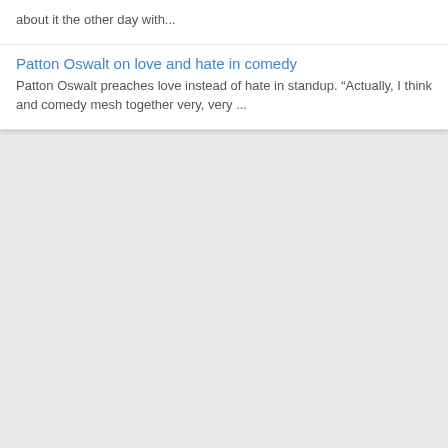about it the other day with...
Patton Oswalt on love and hate in comedy
Patton Oswalt preaches love instead of hate in standup. “Actually, I think and comedy mesh together very, very ...